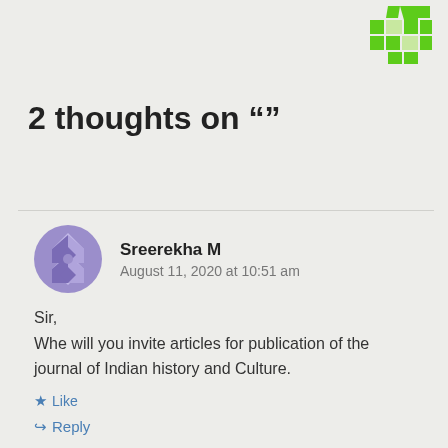[Figure (logo): Green geometric/star logo in top right corner]
2 thoughts on "“”"
Sreerekha M
August 11, 2020 at 10:51 am
Sir,
Whe will you invite articles for publication of the journal of Indian history and Culture.
Like
Reply